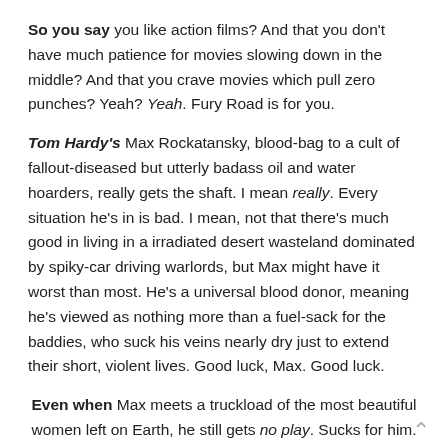So you say you like action films? And that you don't have much patience for movies slowing down in the middle? And that you crave movies which pull zero punches? Yeah? Yeah. Fury Road is for you.
Tom Hardy's Max Rockatansky, blood-bag to a cult of fallout-diseased but utterly badass oil and water hoarders, really gets the shaft. I mean really. Every situation he's in is bad. I mean, not that there's much good in living in a irradiated desert wasteland dominated by spiky-car driving warlords, but Max might have it worst than most. He's a universal blood donor, meaning he's viewed as nothing more than a fuel-sack for the baddies, who suck his veins nearly dry just to extend their short, violent lives. Good luck, Max. Good luck.
Even when Max meets a truckload of the most beautiful women left on Earth, he still gets no play. Sucks for him.
Enter Charlize Theron's Furiosa, badass among all badasses. While her motivations aren't really known until the end, her willingness to crunch bones is evident from the beginning. I suppose if I were driving a truck brimming with such hotties as Capable, The Dag, and Toast the